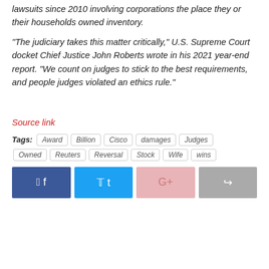lawsuits since 2010 involving corporations the place they or their households owned inventory.
“The judiciary takes this matter critically,” U.S. Supreme Court docket Chief Justice John Roberts wrote in his 2021 year-end report. “We count on judges to stick to the best requirements, and people judges violated an ethics rule.”
Source link
Tags: Award Billion Cisco damages Judges Owned Reuters Reversal Stock Wife wins
[Figure (infographic): Social sharing buttons: Facebook, Twitter, Google+, Share]